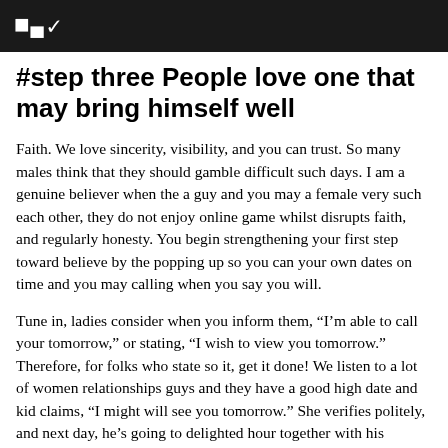C~
#step three People love one that may bring himself well
Faith. We love sincerity, visibility, and you can trust. So many males think that they should gamble difficult such days. I am a genuine believer when the a guy and you may a female very such each other, they do not enjoy online game whilst disrupts faith, and regularly honesty. You begin strengthening your first step toward believe by the popping up so you can your own dates on time and you may calling when you say you will.
Tune in, ladies consider when you inform them, “I’m able to call your tomorrow,” or stating, “I wish to view you tomorrow.” Therefore, for folks who state so it, get it done! We listen to a lot of women relationships guys and they have a good high date and kid claims, “I might will see you tomorrow.” She verifies politely, and next day, he’s going to delighted hour together with his members of the family. This won’t look fantastic, men! Some tips about what takes place in an excellent female’s head should you this: “He’s not severe, and that i don’t want to dedicate my personal time for you him.” Boys ponder as to why this occurs, and it is due to the fact he disappointment of someone…